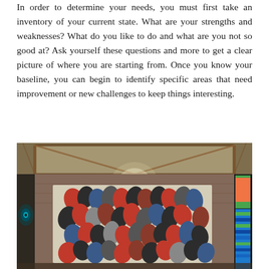In order to determine your needs, you must first take an inventory of your current state. What are your strengths and weaknesses? What do you like to do and what are you not so good at? Ask yourself these questions and more to get a clear picture of where you are starting from. Once you know your baseline, you can begin to identify specific areas that need improvement or new challenges to keep things interesting.
[Figure (photo): Interior of a small shop or market stall. A patchwork quilt with red, black, blue, and grey fabric pieces is displayed on a wall. Colorful fabrics (green, orange, blue) hang on the right side. A bright light glows from the center-top. The ceiling is made of wooden beams and transparent sheeting. On the left wall there is a painted eye/peacock motif.]